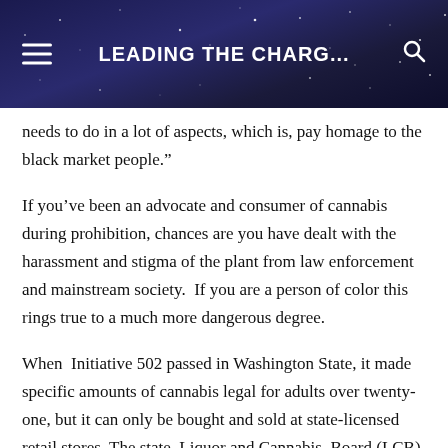LEADING THE CHARG...
needs to do in a lot of aspects, which is, pay homage to the black market people.”
If you’ve been an advocate and consumer of cannabis during prohibition, chances are you have dealt with the harassment and stigma of the plant from law enforcement and mainstream society.  If you are a person of color this rings true to a much more dangerous degree.
When  Initiative 502 passed in Washington State, it made specific amounts of cannabis legal for adults over twenty-one, but it can only be bought and sold at state-licensed retail stores. The state  Liquor and Cannabis  Board (LCB) also uses a point system for past crimes to determine eligibility for legal pot